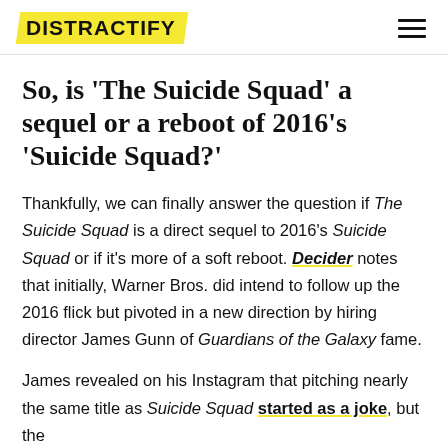DISTRACTIFY
So, is 'The Suicide Squad' a sequel or a reboot of 2016's 'Suicide Squad?'
Thankfully, we can finally answer the question if The Suicide Squad is a direct sequel to 2016's Suicide Squad or if it's more of a soft reboot. Decider notes that initially, Warner Bros. did intend to follow up the 2016 flick but pivoted in a new direction by hiring director James Gunn of Guardians of the Galaxy fame.
James revealed on his Instagram that pitching nearly the same title as Suicide Squad started as a joke, but the